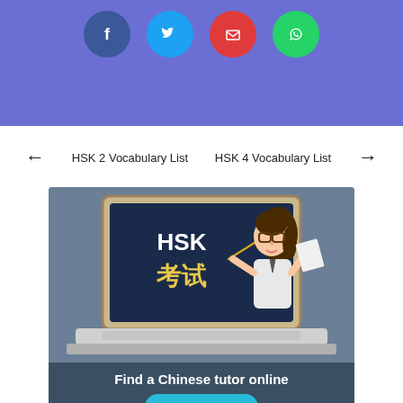[Figure (illustration): Purple banner background with four social media icon circles: Facebook (dark blue), Twitter (light blue), Email (red), WhatsApp (green)]
← HSK 2 Vocabulary List   HSK 4 Vocabulary List →
[Figure (illustration): Advertisement banner showing a cartoon female teacher pointing at a laptop screen displaying 'HSK 考试', with text 'Find a Chinese tutor online' and a 'Learn More >' button]